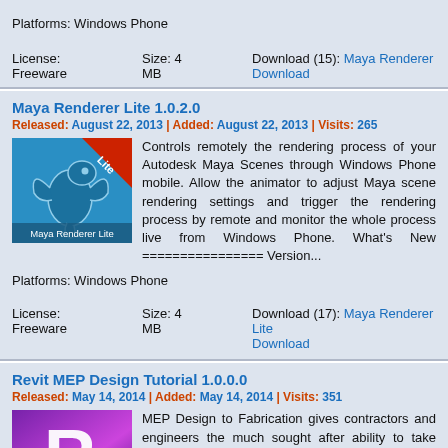Platforms: Windows Phone
License: Freeware
Size: 4 MB
Download (15): Maya Renderer Download
Maya Renderer Lite 1.0.2.0
Released: August 22, 2013  |  Added: August 22, 2013 | Visits: 265
[Figure (illustration): Maya Renderer Lite app icon - blue background with dragon logo and red Lite banner]
Controls remotely the rendering process of your Autodesk Maya Scenes through Windows Phone mobile. Allow the animator to adjust Maya scene rendering settings and trigger the rendering process by remote and monitor the whole process live from Windows Phone. What's New ================ Version...
Platforms: Windows Phone
License: Freeware
Size: 4 MB
Download (17): Maya Renderer Lite Download
Revit MEP Design Tutorial 1.0.0.0
Released: May 14, 2014  |  Added: May 14, 2014 | Visits: 351
[Figure (illustration): Revit MEP Design Tutorial app icon - purple/magenta letter R on gradient background]
MEP Design to Fabrication gives contractors and engineers the much sought after ability to take engineering design drawings that were created in Autodesk Revit 2014 or Autodesk Revit MEP